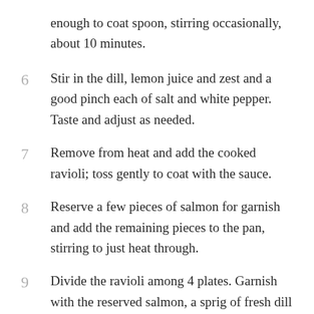enough to coat spoon, stirring occasionally, about 10 minutes.
6  Stir in the dill, lemon juice and zest and a good pinch each of salt and white pepper. Taste and adjust as needed.
7  Remove from heat and add the cooked ravioli; toss gently to coat with the sauce.
8  Reserve a few pieces of salmon for garnish and add the remaining pieces to the pan, stirring to just heat through.
9  Divide the ravioli among 4 plates. Garnish with the reserved salmon, a sprig of fresh dill and a